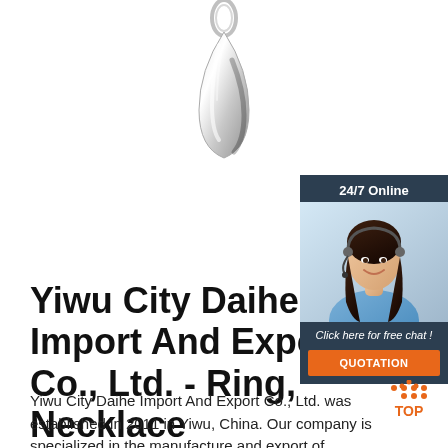[Figure (photo): Silver teardrop pendant necklace charm on white background, photographed from above]
[Figure (infographic): 24/7 online chat widget sidebar with a smiling female customer service representative wearing a headset, dark navy background, orange QUOTATION button, text 'Click here for free chat!']
Yiwu City Daihe Import And Export Co., Ltd. - Ring, Necklace
Yiwu City Daihe Import And Export Co., Ltd. was established in 2011 in Yiwu, China. Our company is specialized in the manufacture and export of